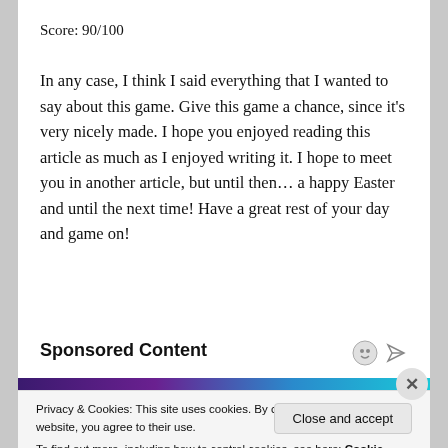Score: 90/100
In any case, I think I said everything that I wanted to say about this game. Give this game a chance, since it’s very nicely made. I hope you enjoyed reading this article as much as I enjoyed writing it. I hope to meet you in another article, but until then… a happy Easter and until the next time! Have a great rest of your day and game on!
Sponsored Content
Privacy & Cookies: This site uses cookies. By continuing to use this website, you agree to their use.
To find out more, including how to control cookies, see here: Cookie Policy
Close and accept